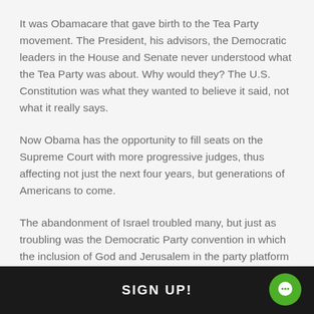It was Obamacare that gave birth to the Tea Party movement. The President, his advisors, the Democratic leaders in the House and Senate never understood what the Tea Party was about. Why would they? The U.S. Constitution was what they wanted to believe it said, not what it really says.
Now Obama has the opportunity to fill seats on the Supreme Court with more progressive judges, thus affecting not just the next four years, but generations of Americans to come.
The abandonment of Israel troubled many, but just as troubling was the Democratic Party convention in which the inclusion of God and Jerusalem in the party platform evoked jeers and derision. It was the same Democratic Party that had, since the end of the Civil War, fro...
SIGN UP!